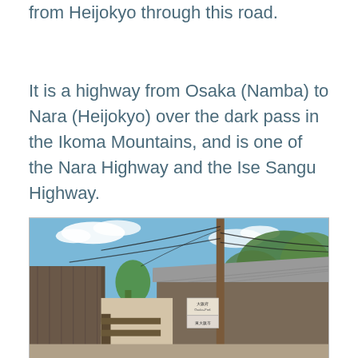from Heijokyo through this road.
It is a highway from Osaka (Namba) to Nara (Heijokyo) over the dark pass in the Ikoma Mountains, and is one of the Nara Highway and the Ise Sangu Highway.
[Figure (photo): Street-level photo of a traditional Japanese village lane with old wooden buildings, utility pole with wires, a small sign reading Osaka-fu / Higashi-Osaka-shi, blue sky with clouds, and green trees in the background.]